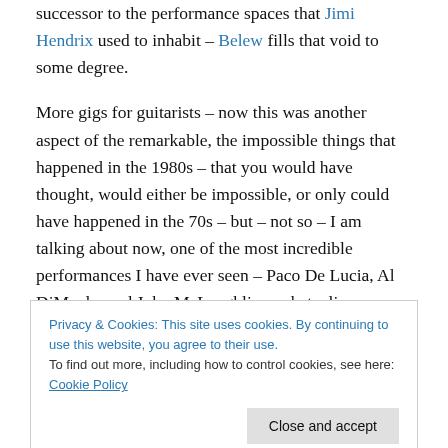successor to the performance spaces that Jimi Hendrix used to inhabit – Belew fills that void to some degree.
More gigs for guitarists – now this was another aspect of the remarkable, the impossible things that happened in the 1980s – that you would have thought, would either be impossible, or only could have happened in the 70s – but – not so – I am talking about now, one of the most incredible performances I have ever seen – Paco De Lucia, Al DiMeola, and John McLaughlin – what a line-up. Three legends of the guitar – each with their own style –
Privacy & Cookies: This site uses cookies. By continuing to use this website, you agree to their use.
To find out more, including how to control cookies, see here: Cookie Policy
and these three gentlemen had lots of all of those things,